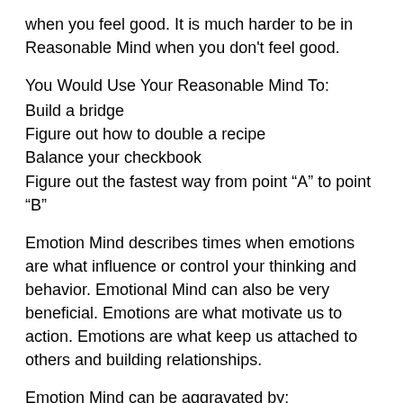when you feel good. It is much harder to be in Reasonable Mind when you don't feel good.
You Would Use Your Reasonable Mind To:
Build a bridge
Figure out how to double a recipe
Balance your checkbook
Figure out the fastest way from point “A” to point “B”
Emotion Mind describes times when emotions are what influence or control your thinking and behavior. Emotional Mind can also be very beneficial. Emotions are what motivate us to action. Emotions are what keep us attached to others and building relationships.
Emotion Mind can be aggravated by:
Illness, Lack Of Sleep, Tiredness, Drugs, Alcohol, Hungry,